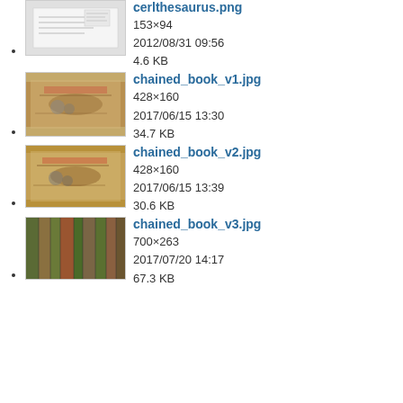cerlthesaurus.png
153×94
2012/08/31 09:56
4.6 KB
chained_book_v1.jpg
428×160
2017/06/15 13:30
34.7 KB
chained_book_v2.jpg
428×160
2017/06/15 13:39
30.6 KB
chained_book_v3.jpg
700×263
2017/07/20 14:17
67.3 KB